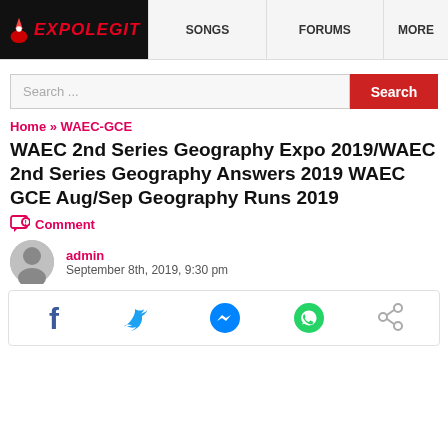EXPOLEGIT | SONGS | FORUMS | MORE
Search...
Home » WAEC-GCE
WAEC 2nd Series Geography Expo 2019/WAEC 2nd Series Geography Answers 2019 WAEC GCE Aug/Sep Geography Runs 2019
Comment
admin
September 8th, 2019, 9:30 pm
[Figure (infographic): Social share icons: Facebook, Twitter, Messenger, WhatsApp, Share]